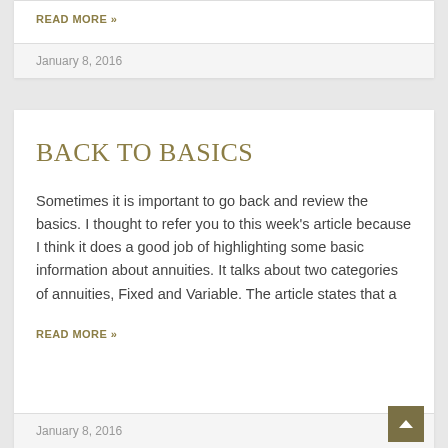READ MORE »
January 8, 2016
BACK TO BASICS
Sometimes it is important to go back and review the basics. I thought to refer you to this week's article because I think it does a good job of highlighting some basic information about annuities. It talks about two categories of annuities, Fixed and Variable. The article states that a
READ MORE »
January 8, 2016